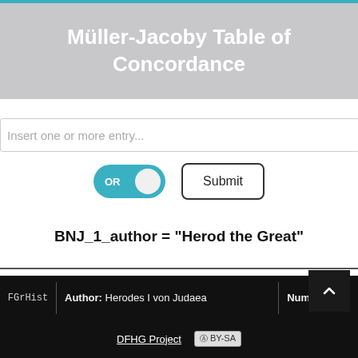Müller-Jacoby Table of Concordance
Insert one or more entry...
OR  Submit
BNJ_1_author = "Herod the Great"
FGrHist  Author: Herodes I von Judaea  Number: 236
DFHG Project  CC BY-SA